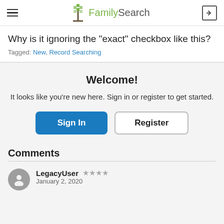FamilySearch
Why is it ignoring the "exact" checkbox like this?
Tagged: New, Record Searching
Welcome!
It looks like you're new here. Sign in or register to get started.
Comments
LegacyUser  ★★★★  January 2, 2020